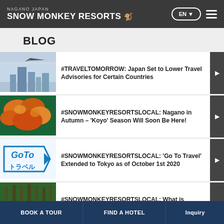NAGANO JAPAN SNOW MONKEY RESORTS
BLOG
#TRAVELTOMORROW: Japan Set to Lower Travel Advisories for Certain Countries
#SNOWMONKEYRESORTSLOCAL: Nagano in Autumn – 'Koyo' Season Will Soon Be Here!
#SNOWMONKEYRESORTSLOCAL: 'Go To Travel' Extended to Tokyo as of October 1st 2020
#SNOWMONKEYRESORTSLOCAL: What is Japan's 'Go To Travel' Campaign?
Enjoy Nagano in Summer...
BOOK A TOUR | FIND A HOTEL | Inquiry